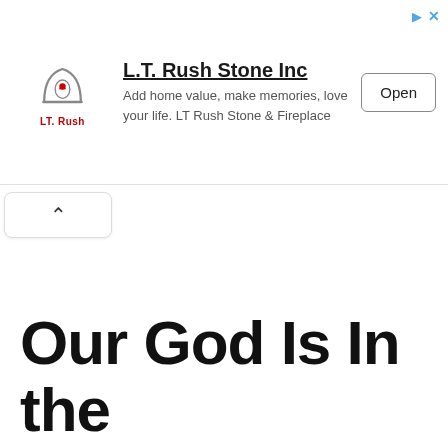[Figure (screenshot): Advertisement banner for L.T. Rush Stone Inc with logo, tagline 'Add home value, make memories, love your life. LT Rush Stone & Fireplace', and an Open button]
Our God Is In the Heavens, and He